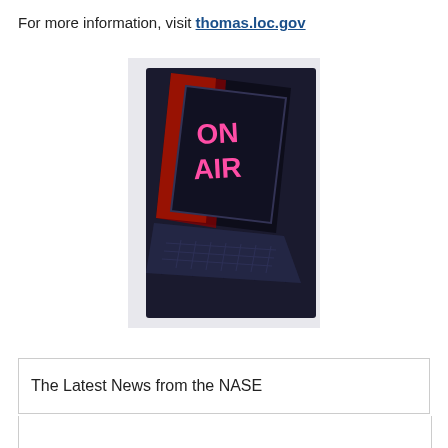For more information, visit thomas.loc.gov
[Figure (photo): A laptop computer with its screen displaying a glowing 'ON AIR' sign in pink/red neon text against a dark background, photographed at an angle showing the keyboard.]
The Latest News from the NASE